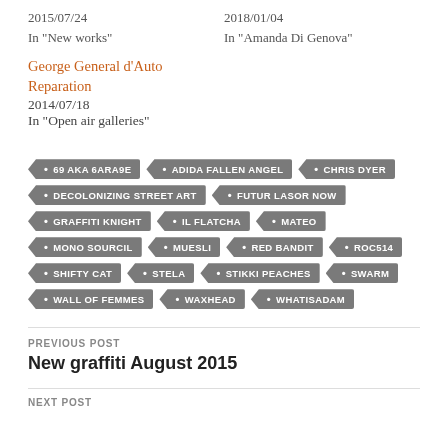2015/07/24
In "New works"
2018/01/04
In "Amanda Di Genova"
George General d'Auto Reparation
2014/07/18
In "Open air galleries"
[Figure (other): Tag cloud with artist/category names: 69 AKA 6ARA9E, ADIDA FALLEN ANGEL, CHRIS DYER, DECOLONIZING STREET ART, FUTUR LASOR NOW, GRAFFITI KNIGHT, IL FLATCHA, MATEO, MONO SOURCIL, MUESLI, RED BANDIT, ROC514, SHIFTY CAT, STELA, STIKKI PEACHES, SWARM, WALL OF FEMMES, WAXHEAD, WHATISADAM]
PREVIOUS POST
New graffiti August 2015
NEXT POST